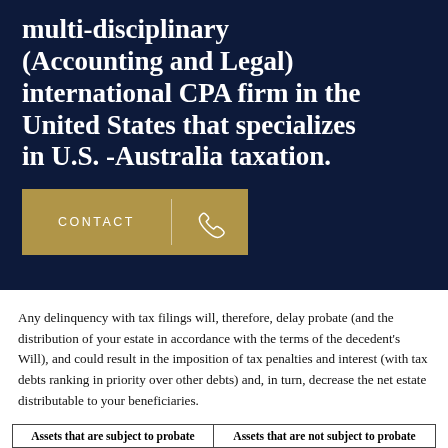multi-disciplinary (Accounting and Legal) international CPA firm in the United States that specializes in U.S. -Australia taxation.
[Figure (other): Gold CONTACT button with phone icon on dark navy background]
Any delinquency with tax filings will, therefore, delay probate (and the distribution of your estate in accordance with the terms of the decedent's Will), and could result in the imposition of tax penalties and interest (with tax debts ranking in priority over other debts) and, in turn, decrease the net estate distributable to your beneficiaries.
| Assets that are subject to probate | Assets that are not subject to probate |
| --- | --- |